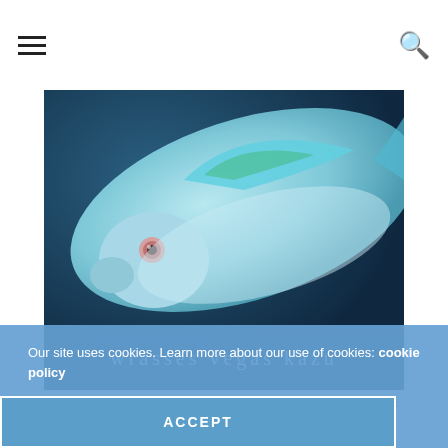[Figure (photo): Close-up photo of a Cirrhilabrus katherinae fish from Palau against a dark blue background, showing its head and body with a pink eye. Text overlay reads 'wrasses vegas  kazu'.]
Cirrhilabrus katherinae from Palau displaying nuptial colors. Photo credit: Kazu.
The nuptial coloration for this phenotype is dramatically different from the other two. In full nuptial display, the fins are clamped down except for the anterior third. The entire body turns white, save the dorso-anterior region just
Our site uses cookies. Learn more about our use of cookies: cookie policy